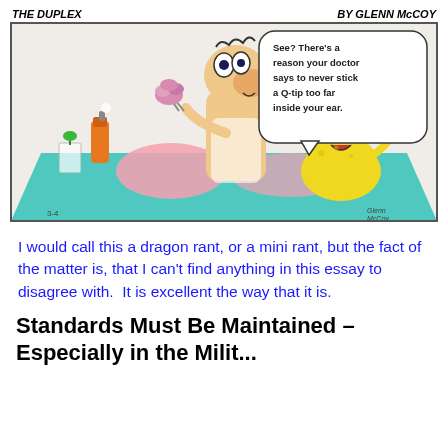[Figure (illustration): The Duplex comic strip by Glenn McCoy. A tall character with a large nose holds a brain-like pink object (cotton from a Q-tip) pinched in scissors/tweezers. A yellow dog-like character sits nearby at a teal table with items on it (orange spray can, glass with plant). A speech bubble reads: 'See? There's a reason your doctor says to never stick a Q-tip too far inside your ear.' Signed 'Glenn McCoy' bottom right. Date '3-4' bottom left.]
I would call this a dragon rant, or a mini rant, but the fact of the matter is, that I can't find anything in this essay to disagree with.  It is excellent the way that it is.
Standards Must Be Maintained – Especially in the Milit...